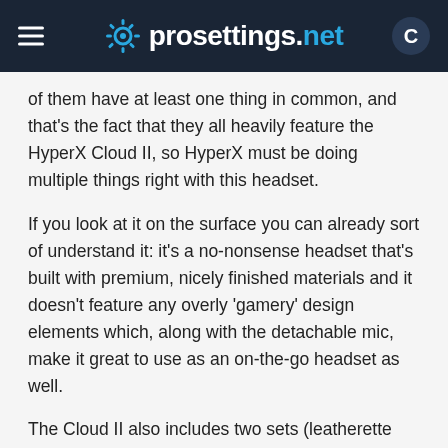prosettings.net
of them have at least one thing in common, and that's the fact that they all heavily feature the HyperX Cloud II, so HyperX must be doing multiple things right with this headset.
If you look at it on the surface you can already sort of understand it: it's a no-nonsense headset that's built with premium, nicely finished materials and it doesn't feature any overly 'gamery' design elements which, along with the detachable mic, make it great to use as an on-the-go headset as well.
The Cloud II also includes two sets (leatherette and velours) of interchangeable ear cups, which is great if you don't like the feeling of leatherette or you just want to change out to the more airy velours pads in the summer. Whatever it may be; the Cloud II is a nicely designed headset that seems to be a comfortable fit for the vast majority of gamers out there.
But design alone isn't enough to catapult a product to the top of any 'most used' list (let alone multiple) so the Cloud II also has